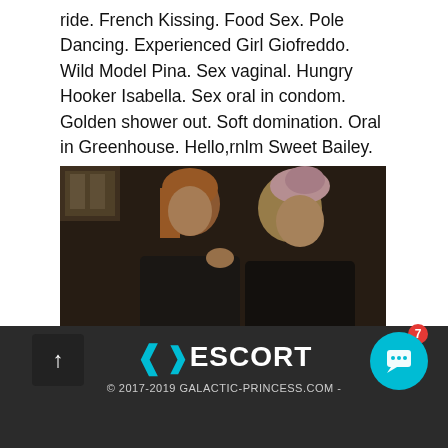ride. French Kissing. Food Sex. Pole Dancing. Experienced Girl Giofreddo. Wild Model Pina. Sex vaginal. Hungry Hooker Isabella. Sex oral in condom. Golden shower out. Soft domination. Oral in Greenhouse. Hello,rnlm Sweet Bailey.
[Figure (photo): Two women in dark clothing, one with red hair and one with blonde curly hair wearing a pink hat, in a dimly lit indoor setting.]
ESCORT © 2017-2019 GALACTIC-PRINCESS.COM -